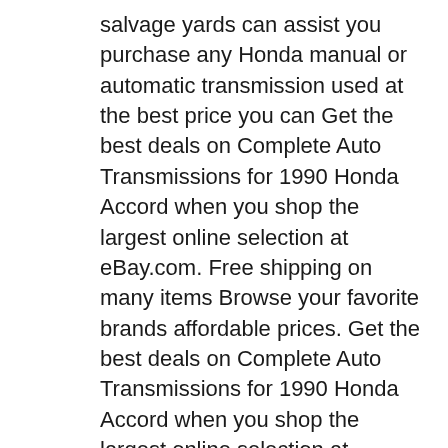salvage yards can assist you purchase any Honda manual or automatic transmission used at the best price you can Get the best deals on Complete Auto Transmissions for 1990 Honda Accord when you shop the largest online selection at eBay.com. Free shipping on many items Browse your favorite brands affordable prices. Get the best deals on Complete Auto Transmissions for 1990 Honda Accord when you shop the largest online selection at eBay.com. Free shipping on many items Browse your favorite brands
honda accord euro with an fuel efficient 3.4 lt 4 cylinder, easy automatic